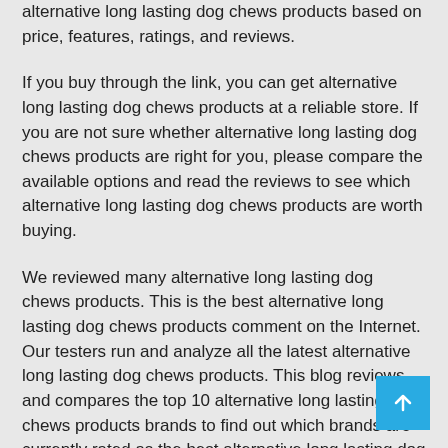alternative long lasting dog chews products based on price, features, ratings, and reviews.
If you buy through the link, you can get alternative long lasting dog chews products at a reliable store. If you are not sure whether alternative long lasting dog chews products are right for you, please compare the available options and read the reviews to see which alternative long lasting dog chews products are worth buying.
We reviewed many alternative long lasting dog chews products. This is the best alternative long lasting dog chews products comment on the Internet. Our testers run and analyze all the latest alternative long lasting dog chews products. This blog reviews and compares the top 10 alternative long lasting dog chews products brands to find out which brands are currently rated as the best alternative long lasting dog chews products brands.